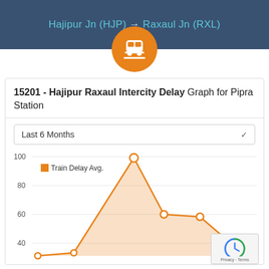Hajipur Jn (HJP) → Raxaul Jn (RXL)
[Figure (logo): Orange circular train icon badge]
15201 - Hajipur Raxaul Intercity Delay Graph for Pipra Station
Last 6 Months
[Figure (line-chart): Line chart showing train delay average over last 6 months at Pipra Station. Y-axis shows values 40, 60, 80, 100. A spike near the center reaches close to 100, with secondary peaks around 50 and 40.]